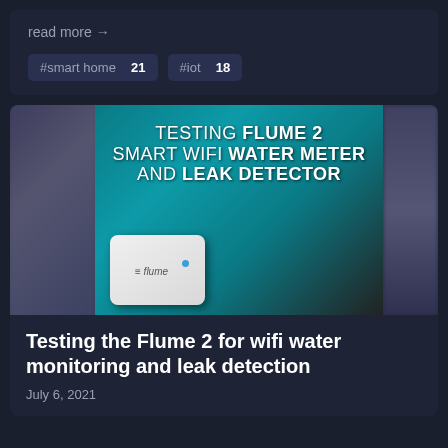read more →
#smart home  21
#iot  18
[Figure (photo): Thumbnail image showing a hand holding a white Flume 2 smart wifi water meter device over a box with teal interior, with overlaid text: TESTING FLUME 2 SMART WIFI WATER METER AND LEAK DETECTOR]
Testing the Flume 2 for wifi water monitoring and leak detection
July 6, 2021